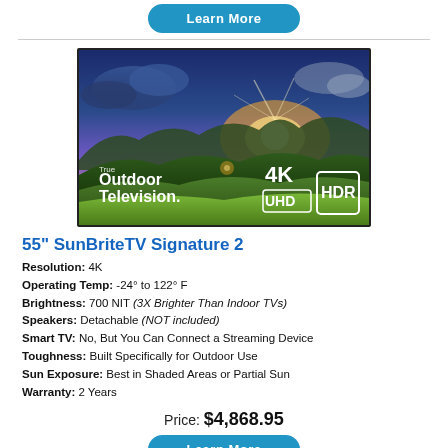[Figure (other): Blue rounded 'Learn More' button partially visible at the top of the page]
[Figure (photo): A TV display showing a scenic sunset over mountains with text overlay 'True Outdoor Television' on left and '4K UHD HDR' logos on right]
55" SunBriteTV Signature 2
Resolution: 4K
Operating Temp: -24° to 122° F
Brightness: 700 NIT (3X Brighter Than Indoor TVs)
Speakers: Detachable (NOT included)
Smart TV: No, But You Can Connect a Streaming Device
Toughness: Built Specifically for Outdoor Use
Sun Exposure: Best in Shaded Areas or Partial Sun
Warranty: 2 Years
Price: $4,868.95
[Figure (other): Blue rounded 'Learn More' button at the bottom of the page]